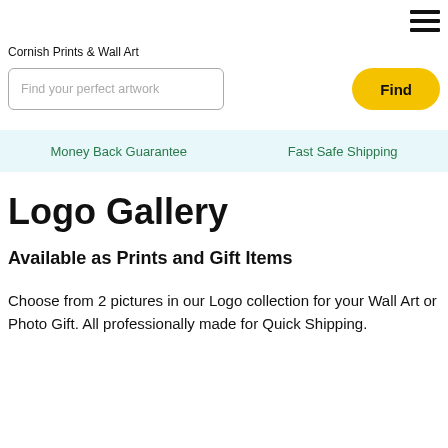Cornish Prints & Wall Art
Find your perfect artwork
Find
Money Back Guarantee   Fast Safe Shipping
Logo Gallery
Available as Prints and Gift Items
Choose from 2 pictures in our Logo collection for your Wall Art or Photo Gift. All professionally made for Quick Shipping.